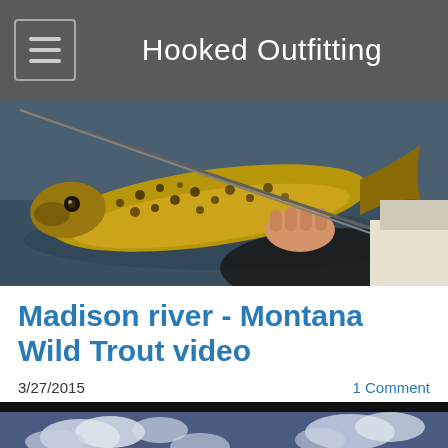Hooked Outfitting
[Figure (photo): Person holding a large brown trout over a fishing net on a boat, with water in the background and a fishing rod visible]
Madison river - Montana Wild Trout video
3/27/2015
1 Comment
[Figure (screenshot): Video thumbnail with dark sky and clouds background, partial text visible at bottom reading 'T... M...']